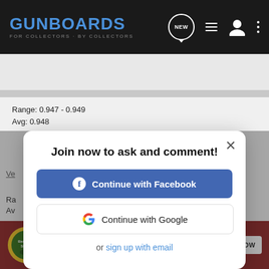GUNBOARDS FOR COLLECTORS · BY COLLECTORS
Range: 0.947 - 0.949
Avg: 0.948
[Figure (screenshot): Modal dialog: 'Join now to ask and comment!' with Continue with Facebook and Continue with Google buttons, and a sign up with email link]
[Figure (other): Bass Pro Shops advertisement banner: Hunting Clearance Bargain Cave, Shop Now button]